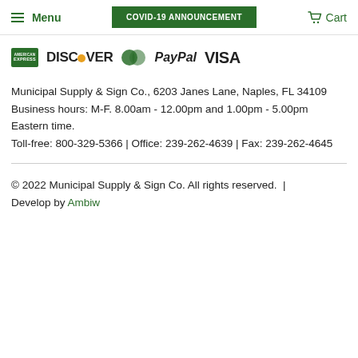Menu | COVID-19 ANNOUNCEMENT | Cart
[Figure (logo): Payment method logos: American Express, Discover, MasterCard, PayPal, Visa]
Municipal Supply & Sign Co., 6203 Janes Lane, Naples, FL 34109
Business hours: M-F. 8.00am - 12.00pm and 1.00pm - 5.00pm Eastern time.
Toll-free: 800-329-5366 | Office: 239-262-4639 | Fax: 239-262-4645
© 2022 Municipal Supply & Sign Co. All rights reserved. | Develop by Ambiw